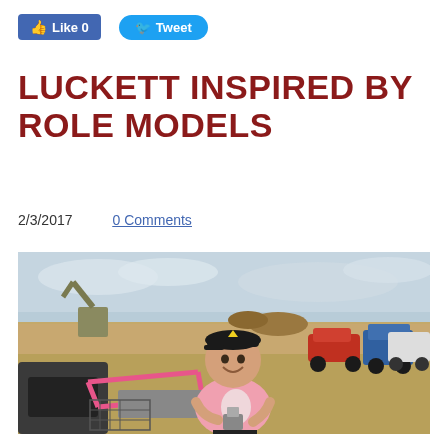Like 0   Tweet
LUCKETT INSPIRED BY ROLE MODELS
2/3/2017   0 Comments
[Figure (photo): Young person wearing a pink t-shirt with owl graphic and a black cap, smiling and holding a trophy/award, standing next to a pink go-kart or racing vehicle on a dry grass field. Cars and machinery visible in the background under a cloudy sky.]